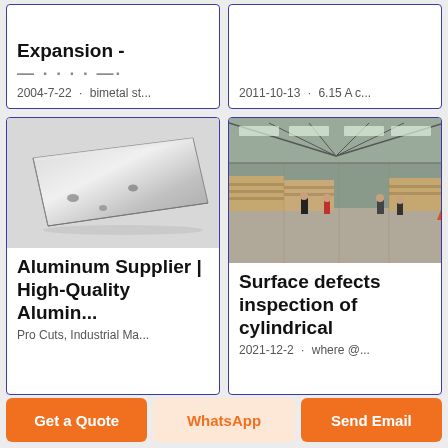[Figure (screenshot): Top-left card partial: title starting with 'Expansion -' and truncated subtitle, date 2004-7-22, bimetal st...]
2004-7-22 · bimetal st...
[Figure (screenshot): Top-right card partial: date 2011-10-13 · 6.15 A c...]
2011-10-13 · 6.15 A c...
[Figure (photo): Bottom-left card: aluminum sheet/plate product photo on gray background]
Aluminum Supplier | High-Quality Alumin...
Pro Cuts, Industrial Ma...
[Figure (photo): Bottom-right card: warehouse interior photo with stacked wooden materials and workers]
Surface defects inspection of cylindrical...
2021-12-2 · where @...